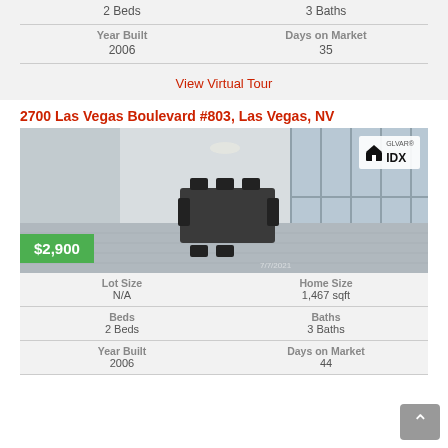| Label | Value |
| --- | --- |
| Year Built | 2006 |
| Days on Market | 35 |
| 2 Beds | 3 Baths |
View Virtual Tour
2700 Las Vegas Boulevard #803, Las Vegas, NV
[Figure (photo): Interior photo of a modern apartment/condo with open floor plan, hardwood floors, dining table with chairs, large windows, and city view. Price badge shows $2,900. IDX logo in top right corner.]
| Label | Value |
| --- | --- |
| Lot Size | N/A |
| Home Size | 1,467 sqft |
| Beds | Baths |
| 2 Beds | 3 Baths |
| Year Built | Days on Market |
| 2006 | 44 |